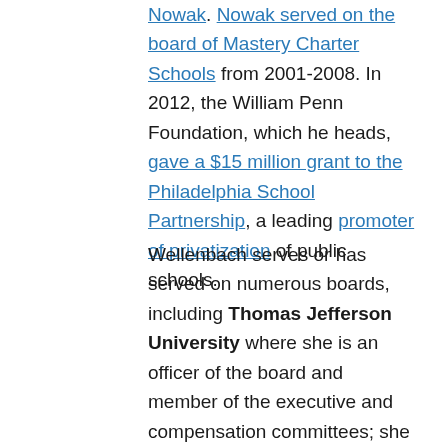Nowak. Nowak served on the board of Mastery Charter Schools from 2001-2008. In 2012, the William Penn Foundation, which he heads, gave a $15 million grant to the Philadelphia School Partnership, a leading promoter of privatization of public schools.
Wellenbach serves or has served on numerous boards, including Thomas Jefferson University where she is an officer of the board and member of the executive and compensation committees; she also chairs the clinical affairs committee. She was the lead director representing Abington Health in the 2015 merger with Thomas Jefferson University, which resulted in the creation of a